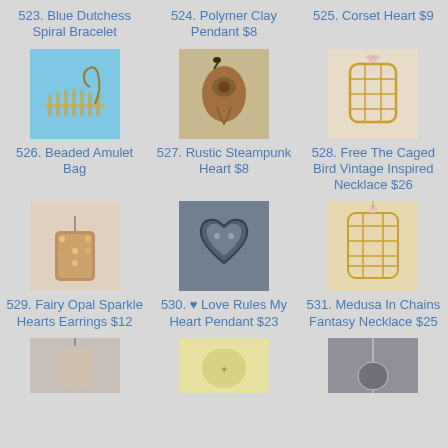523. Blue Dutchess Spiral Bracelet
524. Polymer Clay Pendant $8
525. Corset Heart $9
[Figure (photo): Blue Dutchess Spiral Bracelet jewelry photo]
[Figure (photo): Polymer Clay Pendant jewelry photo]
[Figure (photo): Corset Heart necklace with gold birdcage pendant photo]
526. Beaded Amulet Bag
527. Rustic Steampunk Heart $8
528. Free The Caged Bird Vintage Inspired Necklace $26
[Figure (photo): Fairy Opal Sparkle Hearts Earrings jewelry photo]
[Figure (photo): Love Rules My Heart Pendant jewelry photo]
[Figure (photo): Medusa In Chains Fantasy Necklace jewelry photo]
529. Fairy Opal Sparkle Hearts Earrings $12
530. ♥ Love Rules My Heart Pendant $23
531. Medusa In Chains Fantasy Necklace $25
[Figure (photo): Bottom row item 532 jewelry photo]
[Figure (photo): Bottom row item 533 jewelry photo]
[Figure (photo): Bottom row item 534 jewelry photo]